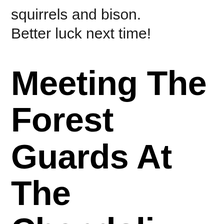squirrels and bison. Better luck next time!
Meeting The Forest Guards At The Chandoli Forest Office